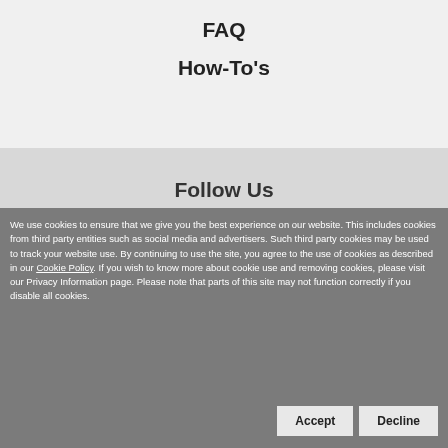FAQ
How-To's
Follow Us
We use cookies to ensure that we give you the best experience on our website. This includes cookies from third party entities such as social media and advertisers. Such third party cookies may be used to track your website use. By continuing to use the site, you agree to the use of cookies as described in our Cookie Policy. If you wish to know more about cookie use and removing cookies, please visit our Privacy Information page. Please note that parts of this site may not function correctly if you disable all cookies.
Accept
Decline